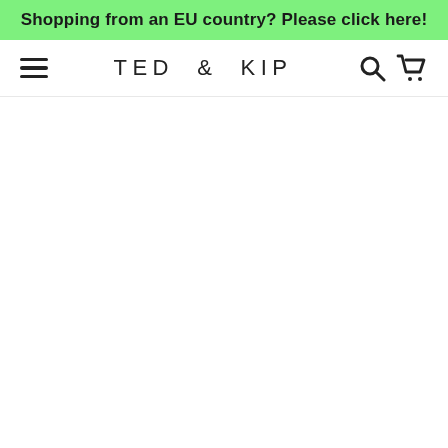Shopping from an EU country? Please click here!
TED & KIP